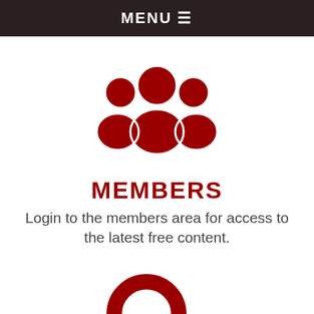MENU ☰
[Figure (illustration): Dark red icon of a group of three people/members silhouette]
MEMBERS
Login to the members area for access to the latest free content.
[Figure (illustration): Dark red magnifying glass / search icon]